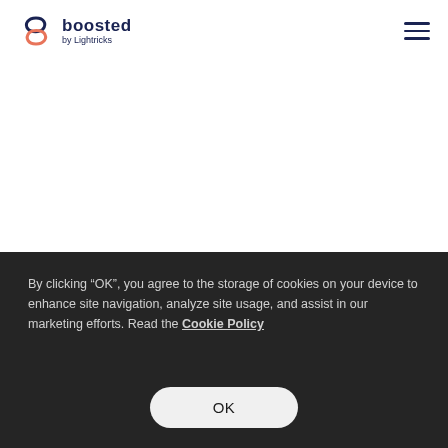boosted by Lightricks
Know what you want to achieve but not sure how
By clicking “OK”, you agree to the storage of cookies on your device to enhance site navigation, analyze site usage, and assist in our marketing efforts. Read the Cookie Policy
OK